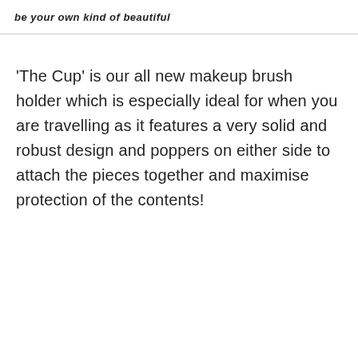be your own kind of beautiful
'The Cup' is our all new makeup brush holder which is especially ideal for when you are travelling as it features a very solid and robust design and poppers on either side to attach the pieces together and maximise protection of the contents!